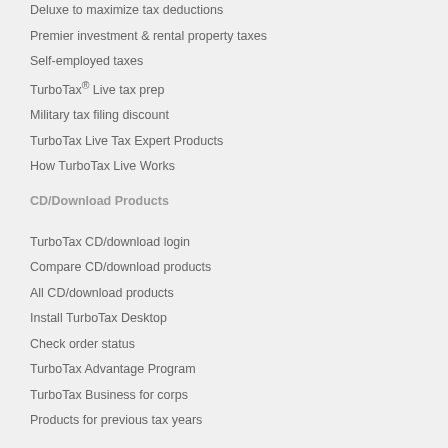Deluxe to maximize tax deductions
Premier investment & rental property taxes
Self-employed taxes
TurboTax® Live tax prep
Military tax filing discount
TurboTax Live Tax Expert Products
How TurboTax Live Works
CD/Download Products
TurboTax CD/download login
Compare CD/download products
All CD/download products
Install TurboTax Desktop
Check order status
TurboTax Advantage Program
TurboTax Business for corps
Products for previous tax years
Mobile Tax Apps
All TurboTax mobile apps
Official TurboTax mobile app